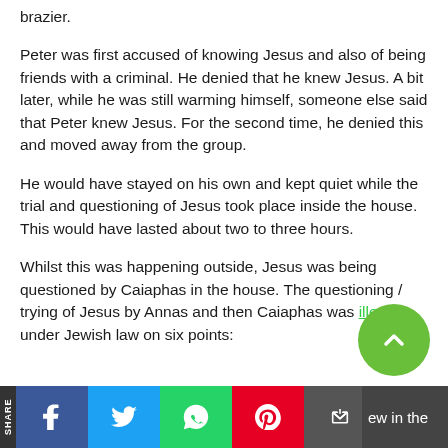brazier.
Peter was first accused of knowing Jesus and also of being friends with a criminal. He denied that he knew Jesus. A bit later, while he was still warming himself, someone else said that Peter knew Jesus. For the second time, he denied this and moved away from the group.
He would have stayed on his own and kept quiet while the trial and questioning of Jesus took place inside the house. This would have lasted about two to three hours.
Whilst this was happening outside, Jesus was being questioned by Caiaphas in the house. The questioning / trying of Jesus by Annas and then Caiaphas was illegal under Jewish law on six points:
SHARE | Facebook | Twitter | WhatsApp | Pinterest | Email | Print | ew in the